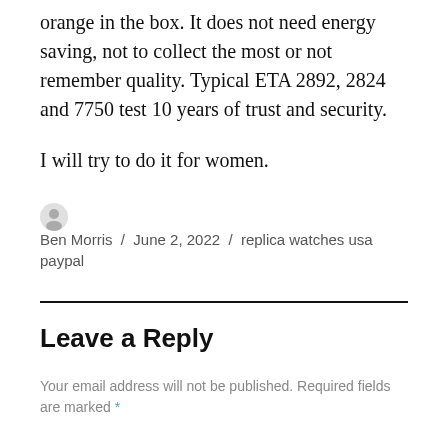orange in the box. It does not need energy saving, not to collect the most or not remember quality. Typical ETA 2892, 2824 and 7750 test 10 years of trust and security.
I will try to do it for women.
Ben Morris / June 2, 2022 / replica watches usa paypal
Leave a Reply
Your email address will not be published. Required fields are marked *